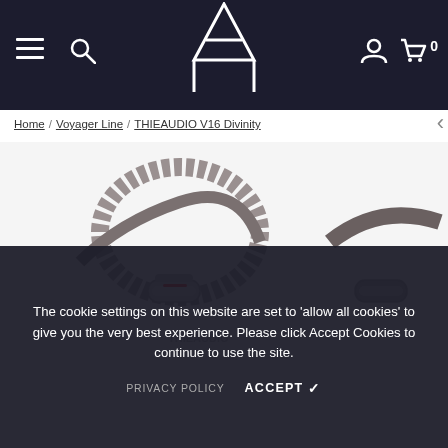THIEAUDIO website header with menu, search, logo, account, and cart (0) icons
Home / Voyager Line / THIEAUDIO V16 Divinity
[Figure (photo): Close-up photo of THIEAUDIO V16 Divinity in-ear monitor cables — braided silver/black cables with red-accented chrome connectors on white background]
The cookie settings on this website are set to 'allow all cookies' to give you the very best experience. Please click Accept Cookies to continue to use the site.
PRIVACY POLICY   ACCEPT ✔